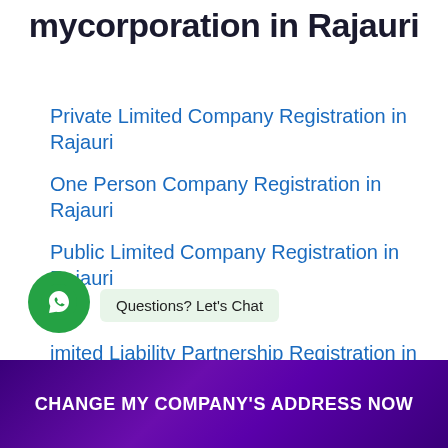mycorporation in Rajauri
Private Limited Company Registration in Rajauri
One Person Company Registration in Rajauri
Public Limited Company Registration in Rajauri
Limited Liability Partnership Registration in
[Figure (other): WhatsApp chat button with green circle icon and chat bubble saying 'Questions? Let's Chat']
CHANGE MY COMPANY'S ADDRESS NOW